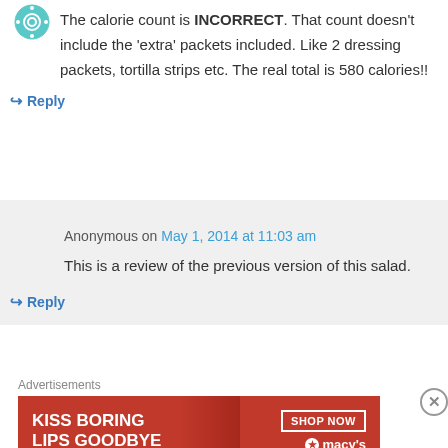The calorie count is INCORRECT. That count doesn't include the 'extra' packets included. Like 2 dressing packets, tortilla strips etc. The real total is 580 calories!!
↳ Reply
Anonymous on May 1, 2014 at 11:03 am
This is a review of the previous version of this salad.
↳ Reply
Advertisements
[Figure (other): Macy's advertisement banner with red background showing 'KISS BORING LIPS GOODBYE' text with SHOP NOW button and Macy's star logo]